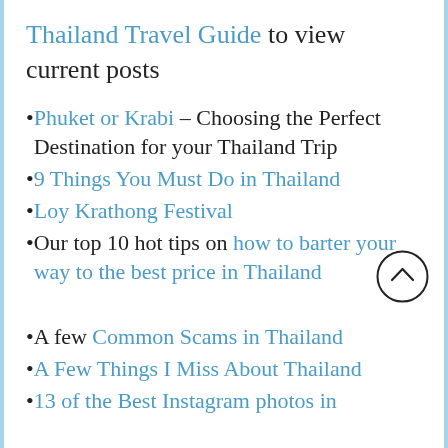Thailand Travel Guide to view current posts
Phuket or Krabi – Choosing the Perfect Destination for your Thailand Trip
9 Things You Must Do in Thailand
Loy Krathong Festival
Our top 10 hot tips on how to barter your way to the best price in Thailand
A few Common Scams in Thailand
A Few Things I Miss About Thailand
13 of the Best Instagram photos in